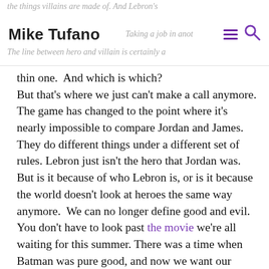the things villains are made of.  And Lebron's … Taking a job in anot… town… The line between hero and villain is certainly a
Mike Tufano
thin one.  And which is which?
But that's where we just can't make a call anymore. The game has changed to the point where it's nearly impossible to compare Jordan and James. They do different things under a different set of rules. Lebron just isn't the hero that Jordan was. But is it because of who Lebron is, or is it because the world doesn't look at heroes the same way anymore.  We can no longer define good and evil. You don't have to look past the movie we're all waiting for this summer. There was a time when Batman was pure good, and now we want our heroes to have a balance between good and evil.  We have no time for the purely good.  So will Lebron be the next Michael Jordan?  No,